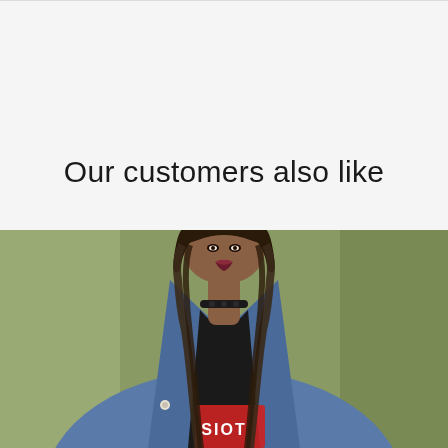Our customers also like
[Figure (photo): A young woman with braided hair wearing a black graphic t-shirt and a denim jacket, with a choker necklace, photographed against a blurred olive-green background.]